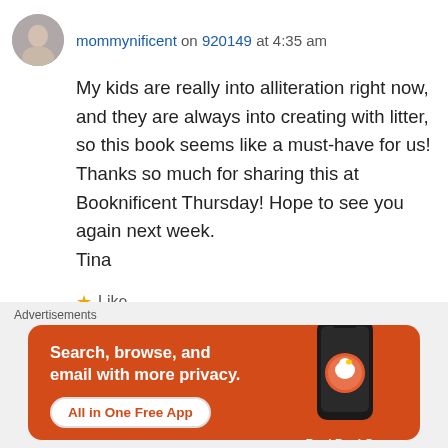mommynificent on 920149 at 4:35 am
My kids are really into alliteration right now, and they are always into creating with litter, so this book seems like a must-have for us! Thanks so much for sharing this at Booknificent Thursday! Hope to see you again next week.
Tina
★ Like
👍 0 👎 0 ℹ Rate This
Log in to Reply
Advertisements
[Figure (screenshot): DuckDuckGo advertisement banner: orange background with phone graphic, text 'Search, browse, and email with more privacy. All in One Free App', DuckDuckGo logo]